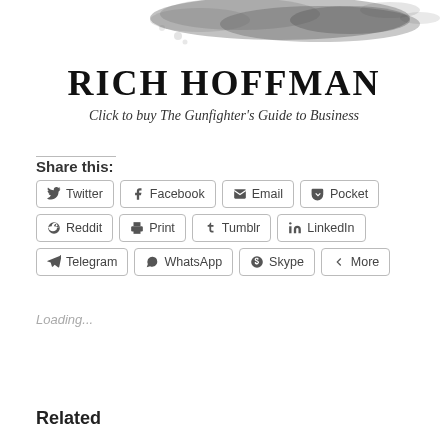[Figure (illustration): Watercolor ink splash in gray/black tones across the top of the page]
RICH HOFFMAN
Click to buy The Gunfighter's Guide to Business
Share this:
Twitter | Facebook | Email | Pocket | Reddit | Print | Tumblr | LinkedIn | Telegram | WhatsApp | Skype | More
Loading...
Related